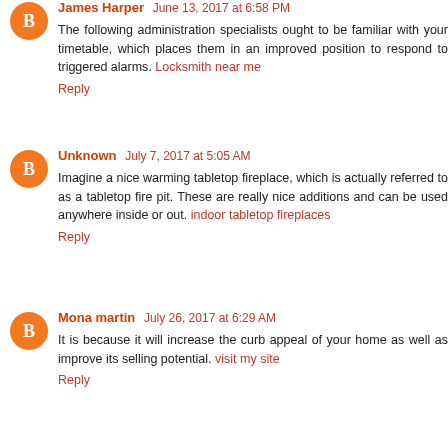James Harper June 13, 2017 at 6:58 PM
The following administration specialists ought to be familiar with your timetable, which places them in an improved position to respond to triggered alarms. Locksmith near me
Reply
Unknown July 7, 2017 at 5:05 AM
Imagine a nice warming tabletop fireplace, which is actually referred to as a tabletop fire pit. These are really nice additions and can be used anywhere inside or out. indoor tabletop fireplaces
Reply
Mona martin July 26, 2017 at 6:29 AM
It is because it will increase the curb appeal of your home as well as improve its selling potential. visit my site
Reply